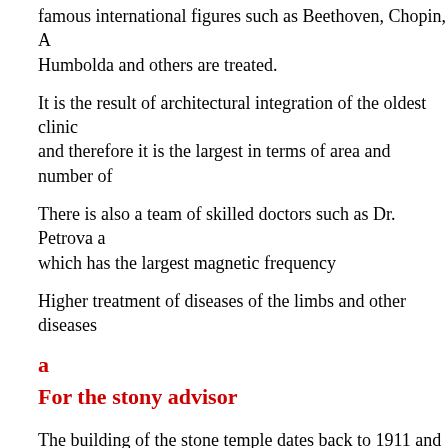famous international figures such as Beethoven, Chopin, Al… Humbolda and others are treated.
It is the result of architectural integration of the oldest clinic… and therefore it is the largest in terms of area and number of…
There is also a team of skilled doctors such as Dr. Petrova a… which has the largest magnetic frequency
Higher treatment of diseases of the limbs and other diseases…
a
For the stony advisor
The building of the stone temple dates back to 1911 and is b… to the modern baroque style. This spa has a spacious and pic… garden known as the Arab Park and is also surrounded by m… foreign cafes and restaurants.